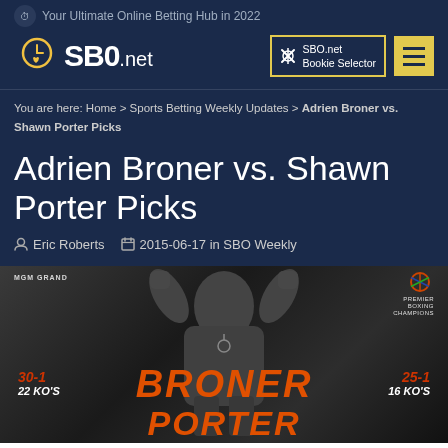Your Ultimate Online Betting Hub in 2022
SBO.net
SBO.net Bookie Selector
You are here: Home > Sports Betting Weekly Updates > Adrien Broner vs. Shawn Porter Picks
Adrien Broner vs. Shawn Porter Picks
Eric Roberts   2015-06-17 in SBO Weekly
[Figure (photo): Fight promotion image for Broner vs Porter boxing match. Shows a boxer flexing in center. Stats shown: Broner 30-1, 22 KOs (left); Porter 25-1, 16 KOs (right). 'BRONER PORTER' text at bottom in orange. MGM Grand and NBC Premier Boxing Champions logos visible.]